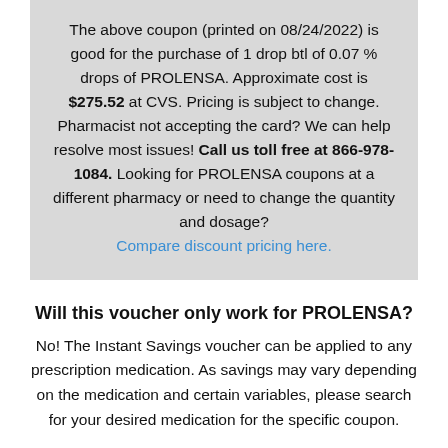The above coupon (printed on 08/24/2022) is good for the purchase of 1 drop btl of 0.07 % drops of PROLENSA. Approximate cost is $275.52 at CVS. Pricing is subject to change. Pharmacist not accepting the card? We can help resolve most issues! Call us toll free at 866-978-1084. Looking for PROLENSA coupons at a different pharmacy or need to change the quantity and dosage? Compare discount pricing here.
Will this voucher only work for PROLENSA?
No! The Instant Savings voucher can be applied to any prescription medication. As savings may vary depending on the medication and certain variables, please search for your desired medication for the specific coupon.
If I have insurance, will this card provide any